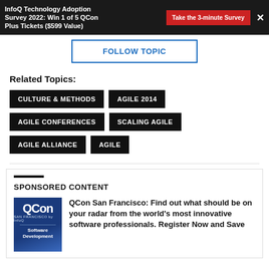InfoQ Technology Adoption Survey 2022: Win 1 of 5 QCon Plus Tickets ($599 Value)
FOLLOW TOPIC
Related Topics:
CULTURE & METHODS
AGILE 2014
AGILE CONFERENCES
SCALING AGILE
AGILE ALLIANCE
AGILE
SPONSORED CONTENT
QCon San Francisco: Find out what should be on your radar from the world's most innovative software professionals. Register Now and Save